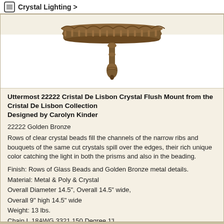Crystal Lighting >
[Figure (photo): Partial view of a crystal flush mount light fixture showing ornate golden bronze canopy and pendant drop from below]
Uttermost 22222 Cristal De Lisbon Crystal Flush Mount from the Cristal De Lisbon Collection Designed by Carolyn Kinder
22222 Golden Bronze
Rows of clear crystal beads fill the channels of the narrow ribs and bouquets of the same cut crystals spill over the edges, their rich unique color catching the light in both the prisms and also in the beading.
Finish: Rows of Glass Beads and Golden Bronze metal details.
Material: Metal & Poly & Crystal
Overall Diameter 14.5", Overall 14.5" wide,
Overall 9" high 14.5" wide
Weight: 13 lbs.
Chain L 18AWG 3321 150 Degree 1'L
Voltage: 110
2 x 60 watt
Shades: Height 9, wide 14.5, Depth: 14.5